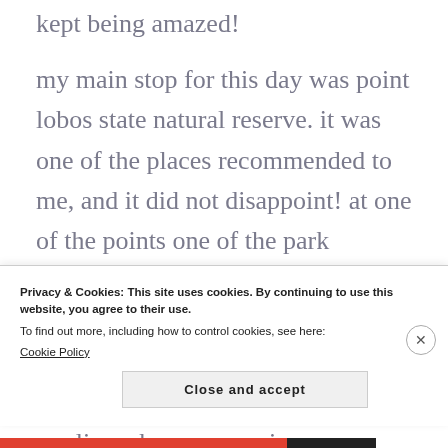kept being amazed!
my main stop for this day was point lobos state natural reserve. it was one of the places recommended to me, and it did not disappoint! at one of the points one of the park volunteers had a telescope where we could see the otters sleeping all wrapped up in kelp, and in the distance we could see and hear the sea lions. however, as i
Privacy & Cookies: This site uses cookies. By continuing to use this website, you agree to their use.
To find out more, including how to control cookies, see here:
Cookie Policy
Close and accept